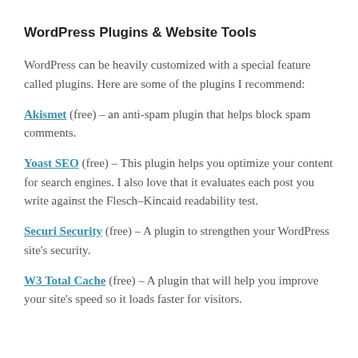WordPress Plugins & Website Tools
WordPress can be heavily customized with a special feature called plugins. Here are some of the plugins I recommend:
Akismet (free) – an anti-spam plugin that helps block spam comments.
Yoast SEO (free) – This plugin helps you optimize your content for search engines. I also love that it evaluates each post you write against the Flesch–Kincaid readability test.
Securi Security (free) – A plugin to strengthen your WordPress site's security.
W3 Total Cache (free) – A plugin that will help you improve your site's speed so it loads faster for visitors.